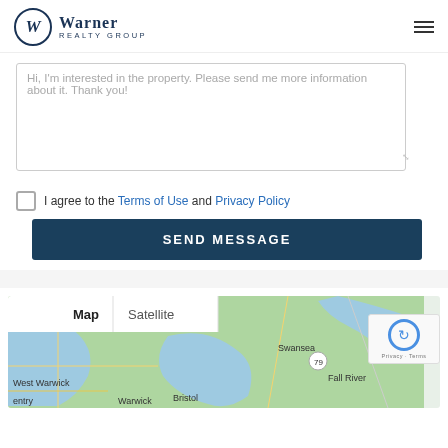[Figure (logo): Warner Realty Group logo with W in circle and hamburger menu icon]
Hi, I'm interested in the property. Please send me more information about it. Thank you!
I agree to the Terms of Use and Privacy Policy
SEND MESSAGE
[Figure (map): Google Map showing areas including Swansea, Fall River, Bristol, Warwick, West Warwick with Map/Satellite toggle tabs]